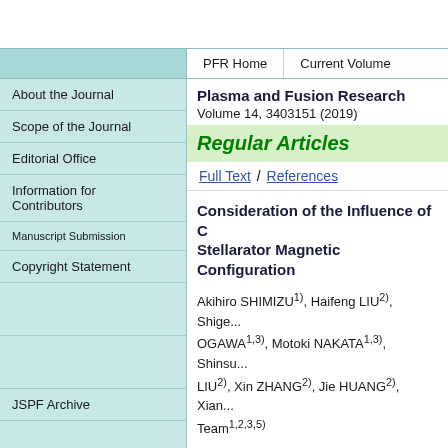PFR Home | Current Volume
About the Journal
Scope of the Journal
Editorial Office
Information for Contributors
Manuscript Submission
Copyright Statement
JSPF Archive
Plasma and Fusion Research
Volume 14, 3403151 (2019)
Regular Articles
Full Text  / References
Consideration of the Influence of C... Stellarator Magnetic Configuration...
Akihiro SHIMIZU1), Haifeng LIU2), Shige... OGAWA1,3), Motoki NAKATA1,3), Shinsu... LIU2), Xin ZHANG2), Jie HUANG2), Xian... Team1,2,3,5)
1) National Institute for Fusion Science, N...
2) Institute of Fusion Science, School of F...
Search